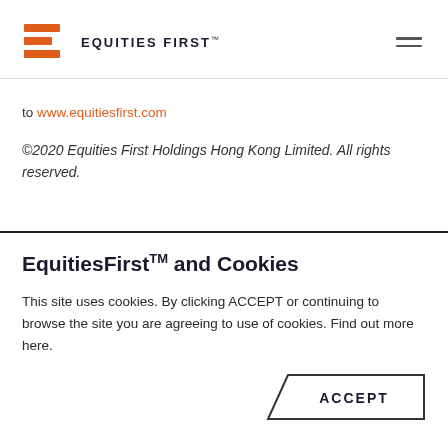EquitiesFirst logo and navigation
to www.equitiesfirst.com
©2020 Equities First Holdings Hong Kong Limited. All rights reserved.
EquitiesFirst™ and Cookies
This site uses cookies. By clicking ACCEPT or continuing to browse the site you are agreeing to use of cookies. Find out more here.